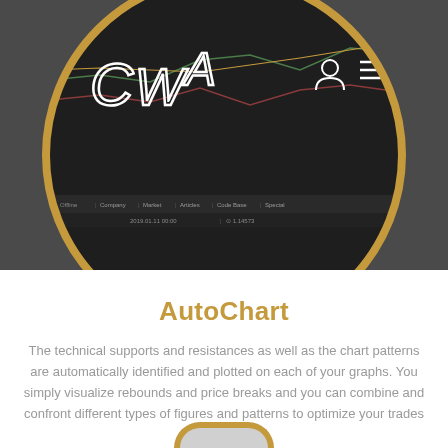[Figure (screenshot): EWA trading platform screenshot shown inside a circular golden-bordered frame on a dark background, with chart lines, navigation icons (user and hamburger menu), toolbar, and navigation links visible]
AutoChart
The technical supports and resistances as well as the chart patterns are automatically identified and plotted on each of your graphs. You simply visualize rebounds and price breaks and you can combine and confront different types of figures and patterns to optimize your trades